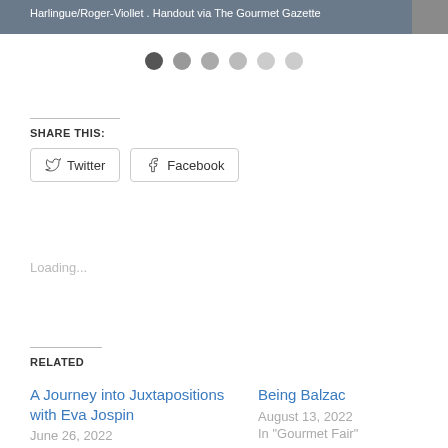[Figure (photo): Gray image bar at top with caption text 'Harlingue/Roger-Viollet . Handout via The Gourmet Gazette' on dark background]
[Figure (other): Row of six pagination dots, first dot darkest, remaining dots progressively lighter gray]
SHARE THIS:
Twitter
Facebook
Loading...
RELATED
A Journey into Juxtapositions with Eva Jospin
June 26, 2022
Being Balzac
August 13, 2022
In "Gourmet Fair"